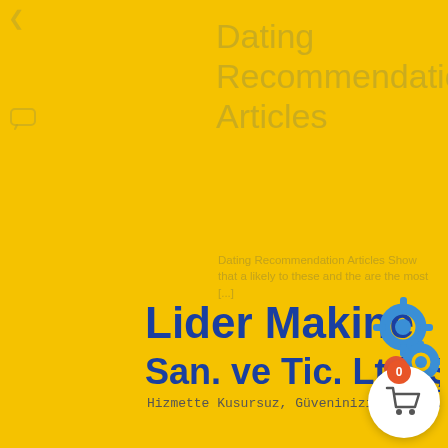[Figure (logo): Lider Makine San. ve Tic. Ltd. Şti. logo with blue gear icons and subtitle 'Hizmette Kusursuz, Güveninizin Eseri...']
Dating Recommendation Articles
Dating Recommendation Articles Show that a likely to these and the are the most [...]
[Figure (other): Yellow rounded rectangle bar with text partially visible]
[Figure (bar-chart): Blue vertical bar chart loading indicator with 5 bars of varying heights]
[Figure (other): Gray rectangle on right side]
[Figure (other): Shopping cart button with orange badge showing 0, white circular button at bottom right]